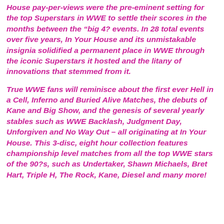House pay-per-views were the pre-eminent setting for the top Superstars in WWE to settle their scores in the months between the “big 4? events. In 28 total events over five years, In Your House and its unmistakable insignia solidified a permanent place in WWE through the iconic Superstars it hosted and the litany of innovations that stemmed from it.
True WWE fans will reminisce about the first ever Hell in a Cell, Inferno and Buried Alive Matches, the debuts of Kane and Big Show, and the genesis of several yearly stables such as WWE Backlash, Judgment Day, Unforgiven and No Way Out – all originating at In Your House. This 3-disc, eight hour collection features championship level matches from all the top WWE stars of the 90?s, such as Undertaker, Shawn Michaels, Bret Hart, Triple H, The Rock, Kane, Diesel and many more!